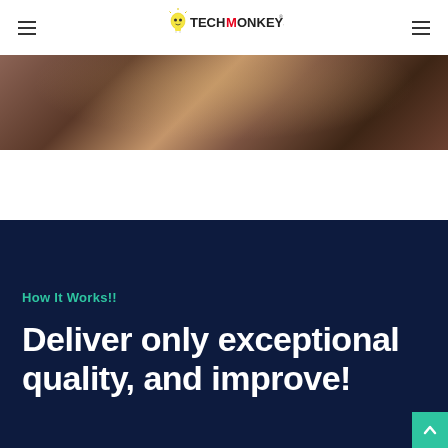TechMonkeys
[Figure (photo): Close-up photo of a person, warm dark tones, partially visible face]
How It Works!!
Deliver only exceptional quality, and improve!